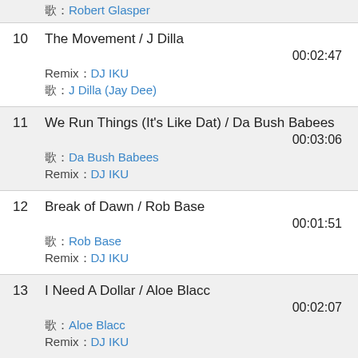10  The Movement / J Dilla  00:02:47  Remix：DJ IKU  歌：J Dilla (Jay Dee)
11  We Run Things (It's Like Dat) / Da Bush Babees  00:03:06  歌：Da Bush Babees  Remix：DJ IKU
12  Break of Dawn / Rob Base  00:01:51  歌：Rob Base  Remix：DJ IKU
13  I Need A Dollar / Aloe Blacc  00:02:07  歌：Aloe Blacc  Remix：DJ IKU
14  Love (feat.Pharoahe Monch) / J Dilla  00:01:50  歌：Pharoahe Monch  Remix：DJ IKU  歌：J Dilla (Jay Dee)